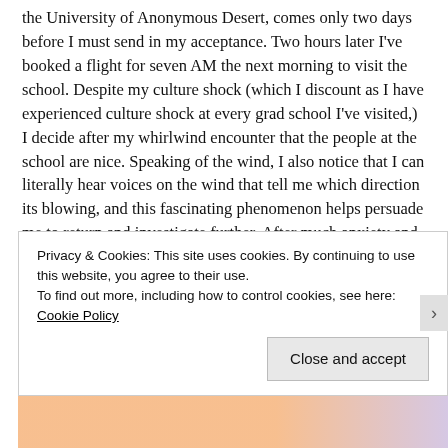the University of Anonymous Desert, comes only two days before I must send in my acceptance. Two hours later I've booked a flight for seven AM the next morning to visit the school. Despite my culture shock (which I discount as I have experienced culture shock at every grad school I've visited,) I decide after my whirlwind encounter that the people at the school are nice. Speaking of the wind, I also notice that I can literally hear voices on the wind that tell me which direction its blowing, and this fascinating phenomenon helps persuade me to return and investigate further. After much anxiety and tears and irritating my parents, I commit to attend the school in the desert in the fall.
Around this time, my parents sell our family home, the one
Privacy & Cookies: This site uses cookies. By continuing to use this website, you agree to their use.
To find out more, including how to control cookies, see here: Cookie Policy
Close and accept